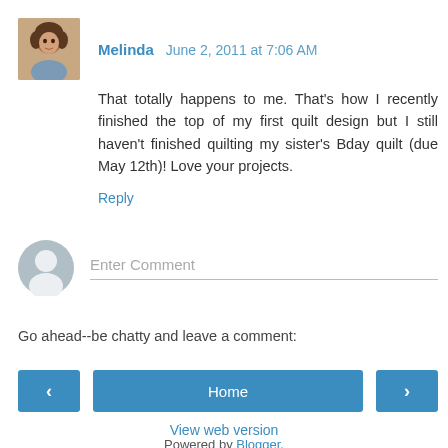[Figure (photo): Small square avatar photo of Melinda, a woman with curly brown hair]
Melinda  June 2, 2011 at 7:06 AM
That totally happens to me. That's how I recently finished the top of my first quilt design but I still haven't finished quilting my sister's Bday quilt (due May 12th)! Love your projects.
Reply
[Figure (illustration): Generic grey silhouette avatar icon for anonymous commenter]
Enter Comment
Go ahead--be chatty and leave a comment:
‹
Home
›
View web version
Powered by Blogger.